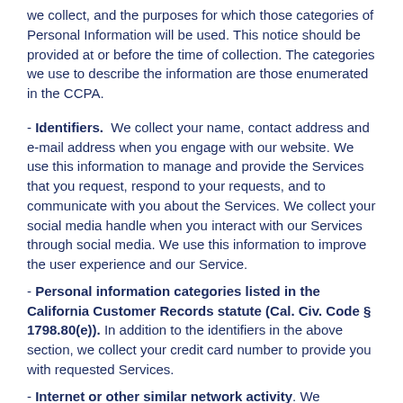we collect, and the purposes for which those categories of Personal Information will be used. This notice should be provided at or before the time of collection. The categories we use to describe the information are those enumerated in the CCPA.
- Identifiers. We collect your name, contact address and e-mail address when you engage with our website. We use this information to manage and provide the Services that you request, respond to your requests, and to communicate with you about the Services. We collect your social media handle when you interact with our Services through social media. We use this information to improve the user experience and our Service.
- Personal information categories listed in the California Customer Records statute (Cal. Civ. Code § 1798.80(e)). In addition to the identifiers in the above section, we collect your credit card number to provide you with requested Services.
- Internet or other similar network activity. We